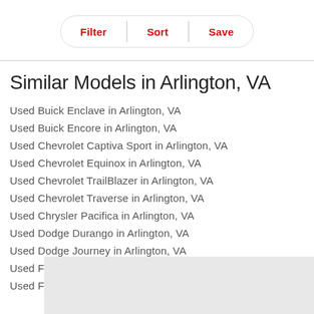[Figure (screenshot): Filter, Sort, Save pill button bar]
Similar Models in Arlington, VA
Used Buick Enclave in Arlington, VA
Used Buick Encore in Arlington, VA
Used Chevrolet Captiva Sport in Arlington, VA
Used Chevrolet Equinox in Arlington, VA
Used Chevrolet TrailBlazer in Arlington, VA
Used Chevrolet Traverse in Arlington, VA
Used Chrysler Pacifica in Arlington, VA
Used Dodge Durango in Arlington, VA
Used Dodge Journey in Arlington, VA
Used Ford Edge in Arlington, VA
Used Ford Escape in Arlington, VA